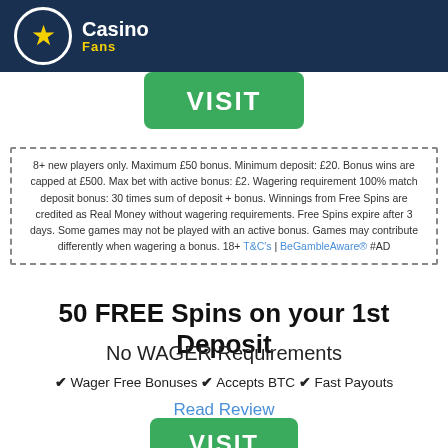Casino Fans
VISIT
8+ new players only. Maximum £50 bonus. Minimum deposit: £20. Bonus wins are capped at £500. Max bet with active bonus: £2. Wagering requirement 100% match deposit bonus: 30 times sum of deposit + bonus. Winnings from Free Spins are credited as Real Money without wagering requirements. Free Spins expire after 3 days. Some games may not be played with an active bonus. Games may contribute differently when wagering a bonus. 18+ T&C's | BeGambleAware® #AD
50 FREE Spins on your 1st Deposit
No WAGER Requirements
✔ Wager Free Bonuses ✔ Accepts BTC ✔ Fast Payouts
Read Review
VISIT